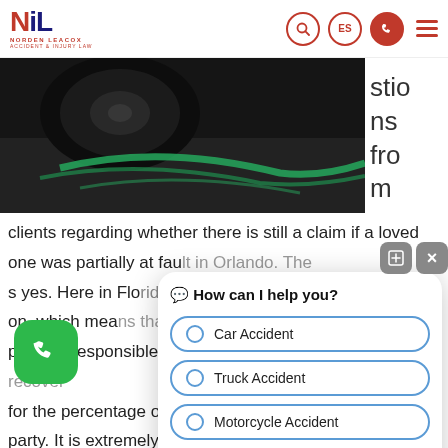[Figure (logo): Norden Leacox Accident & Injury Law logo with NL monogram in red and blue]
[Figure (photo): Black and white photo of an overturned car with green debris on the ground, hero image for accident law firm]
stions fro m
clients regarding whether there is still a claim if a loved one was partially at fault in Orlando. The answer is yes. Here in Florida, we follow comparative fault jurisdiction, which means that even if someone is partially responsible for the accident, they can still recover for the percentage of negligence attributed to the other party. It is extremely important to have a knowledgeable, well-trained lawyer review your case and
[Figure (screenshot): Chat widget overlay with the message 'How can I help you?' and radio button options: Car Accident, Truck Accident, Motorcycle Accident]